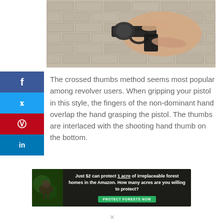[Figure (photo): Close-up of a hand holding a black revolver pistol against a brick wall background]
The crossed thumbs method seems most popular among revolver users. When gripping your pistol in this style, the fingers of the non-dominant hand overlap the hand grasping the pistol. The thumbs are interlaced with the shooting hand thumb on the bottom.
[Figure (infographic): Advertisement banner: Just $2 can protect 1 acre of irreplaceable forest homes in the Amazon. How many acres are you willing to protect? PROTECT FORESTS NOW]